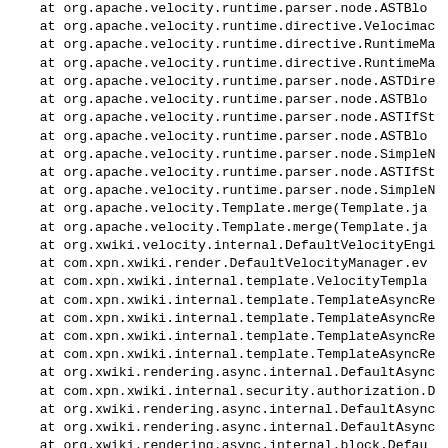at org.apache.velocity.runtime.parser.node.ASTBlo
    at org.apache.velocity.runtime.directive.Velocimac
    at org.apache.velocity.runtime.directive.RuntimeMa
    at org.apache.velocity.runtime.directive.RuntimeMa
    at org.apache.velocity.runtime.parser.node.ASTDire
    at org.apache.velocity.runtime.parser.node.ASTBlo
    at org.apache.velocity.runtime.parser.node.ASTIfSt
    at org.apache.velocity.runtime.parser.node.ASTBlo
    at org.apache.velocity.runtime.parser.node.SimpleN
    at org.apache.velocity.runtime.parser.node.ASTIfSt
    at org.apache.velocity.runtime.parser.node.SimpleN
    at org.apache.velocity.Template.merge(Template.ja
    at org.apache.velocity.Template.merge(Template.ja
    at org.xwiki.velocity.internal.DefaultVelocityEngi
    at com.xpn.xwiki.render.DefaultVelocityManager.ev
    at com.xpn.xwiki.internal.template.VelocityTempla
    at com.xpn.xwiki.internal.template.TemplateAsyncRe
    at com.xpn.xwiki.internal.template.TemplateAsyncRe
    at com.xpn.xwiki.internal.template.TemplateAsyncRe
    at com.xpn.xwiki.internal.template.TemplateAsyncRe
    at org.xwiki.rendering.async.internal.DefaultAsync
    at com.xpn.xwiki.internal.security.authorization.D
    at org.xwiki.rendering.async.internal.DefaultAsync
    at org.xwiki.rendering.async.internal.DefaultAsync
    at org.xwiki.rendering.async.internal.block.Defau
    at com.xpn.xwiki.internal.template.InternalTempla
    at com.xpn.xwiki.internal.template.InternalTempla
    at com.xpn.xwiki.internal.template.InternalTempla
    at com.xpn.xwiki.internal.template.InternalTempla
    at com.xpn.xwiki.internal.template.DefaultTemplate
    at com.xpn.xwiki.XWiki.evaluateTemplate(XWiki.ja